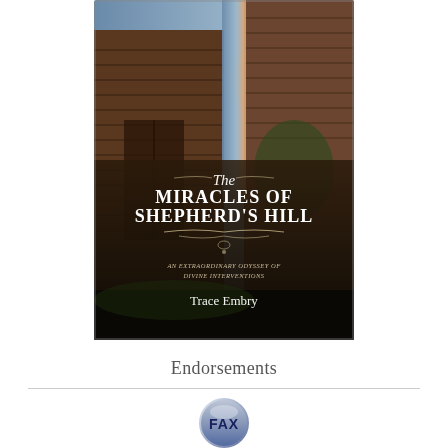[Figure (illustration): Book cover of 'The Miracles of Shepherd's Hill' by Trace Embry. Shows an old wooden barn with rustic siding, dramatic sky, and overlaid text. Subtitle reads 'An Extraordinary Odyssey of Divine Interventions'.]
Endorsements
[Figure (logo): FAX logo — circular badge with letters FAX in a silver/blue shield design]